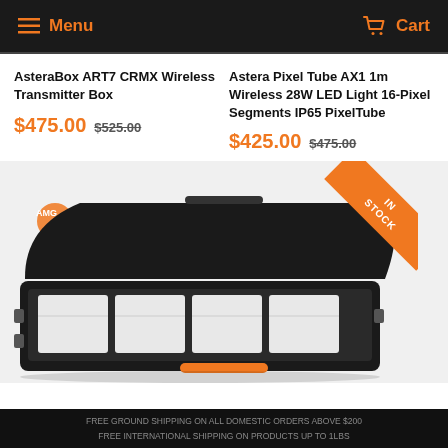Menu  Cart
AsteraBox ART7 CRMX Wireless Transmitter Box
$475.00  $525.00
Astera Pixel Tube AX1 1m Wireless 28W LED Light 16-Pixel Segments IP65 PixelTube
$425.00  $475.00
[Figure (photo): Open black hard-shell carrying case containing multiple white LED lighting units, with an orange IN STOCK ribbon banner overlaid in the upper right corner of the image.]
FREE GROUND SHIPPING ON ALL DOMESTIC ORDERS ABOVE $200  FREE INTERNATIONAL SHIPPING ON PRODUCTS UP TO 1LBS